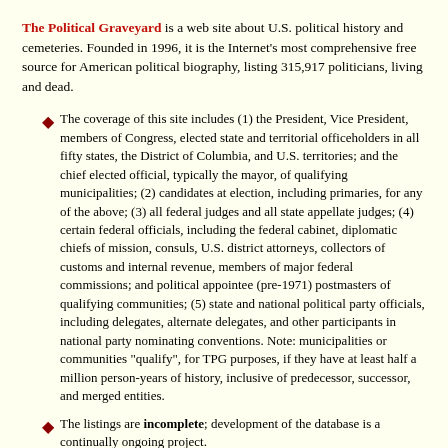The Political Graveyard is a web site about U.S. political history and cemeteries. Founded in 1996, it is the Internet's most comprehensive free source for American political biography, listing 315,917 politicians, living and dead.
The coverage of this site includes (1) the President, Vice President, members of Congress, elected state and territorial officeholders in all fifty states, the District of Columbia, and U.S. territories; and the chief elected official, typically the mayor, of qualifying municipalities; (2) candidates at election, including primaries, for any of the above; (3) all federal judges and all state appellate judges; (4) certain federal officials, including the federal cabinet, diplomatic chiefs of mission, consuls, U.S. district attorneys, collectors of customs and internal revenue, members of major federal commissions; and political appointee (pre-1971) postmasters of qualifying communities; (5) state and national political party officials, including delegates, alternate delegates, and other participants in national party nominating conventions. Note: municipalities or communities "qualify", for TPG purposes, if they have at least half a million person-years of history, inclusive of predecessor, successor, and merged entities.
The listings are incomplete; development of the database is a continually ongoing project.
Information on this page — and on all other pages of this site — is believed to be accurate, but is not guaranteed. Users are advised to check with other sources before relying on any information here.
The official URL for this page is: https://politicalgraveyard.com/chrono/1930/08-25.html.
Links to this or any other Political Graveyard page are welcome, but specific page addresses may sometimes change as the database grows.